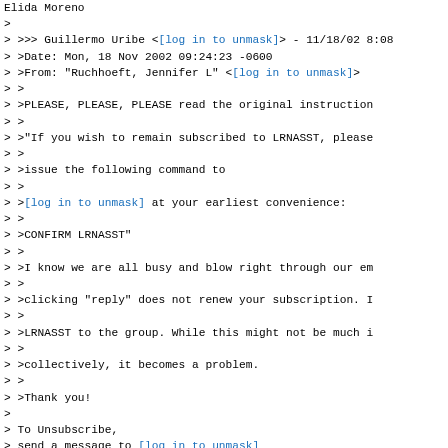Elida Moreno
>
> >>> Guillermo Uribe <[log in to unmask]> - 11/18/02 8:08
> >Date: Mon, 18 Nov 2002 09:24:23 -0600
> >From: "Ruchhoeft, Jennifer L" <[log in to unmask]>
> >
> >PLEASE, PLEASE, PLEASE read the original instruction
> >
> >"If you wish to remain subscribed to LRNASST, please
> >
> >issue the following command to
> >
> >[log in to unmask] at your earliest convenience:
> >
> >CONFIRM LRNASST"
> >
> >I know we are all busy and blow right through our em
> >
> >clicking "reply" does not renew your subscription. I
> >
> >LRNASST to the group. While this might not be much i
> >
> >collectively, it becomes a problem.
> >
> >Thank you!
>
> To Unsubscribe,
> send a message to [log in to unmask]
> In body type: SIGNOFF LRNASST.